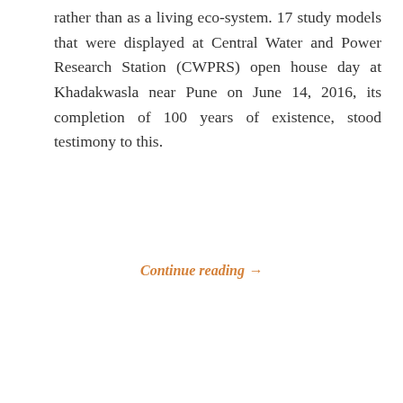rather than as a living eco-system. 17 study models that were displayed at Central Water and Power Research Station (CWPRS) open house day at Khadakwasla near Pune on June 14, 2016, its completion of 100 years of existence, stood testimony to this.
Continue reading →
[Figure (other): Decorative section separator with three circular smiley-face icons centered between dashed horizontal lines]
Search ...